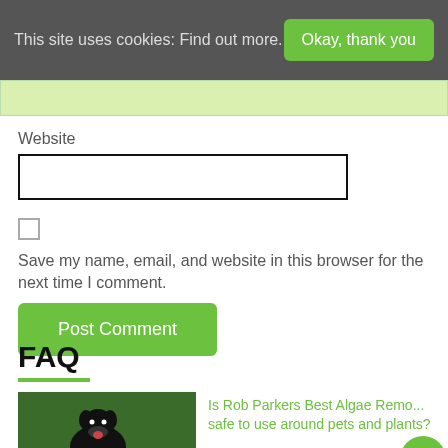This site uses cookies: Find out more.
Okay, thank you
Website
Save my name, email, and website in this browser for the next time I comment.
Post Comment
FAQ
Is Rob Parkers Best Algae Remo... safe to use around pets and plants?